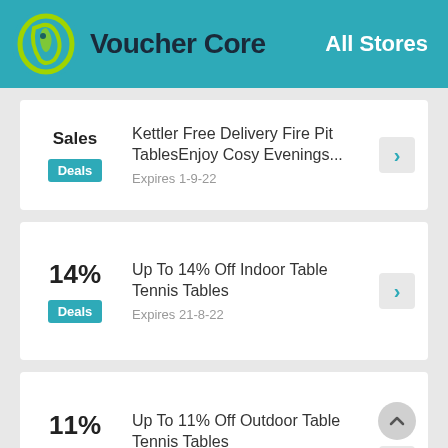Voucher Core — All Stores
Sales — Kettler Free Delivery Fire Pit TablesEnjoy Cosy Evenings... Expires 1-9-22 — Deals
14% — Up To 14% Off Indoor Table Tennis Tables — Expires 21-8-22 — Deals
11% — Up To 11% Off Outdoor Table Tennis Tables — Expires 21-8-22 — Deals